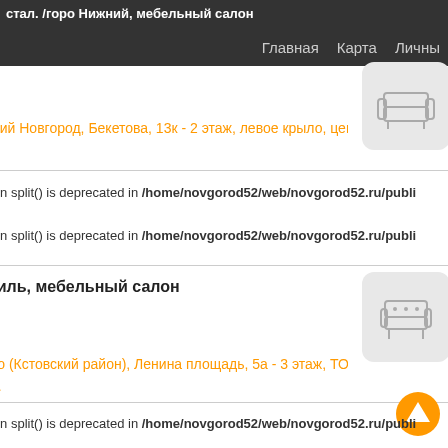Главная  Карта  Личны
ний Новгород, Бекетова, 13к - 2 этаж, левое крыло, центр
ion split() is deprecated in /home/novgorod52/web/novgorod52.ru/publi
ion split() is deprecated in /home/novgorod52/web/novgorod52.ru/publi
гиль, мебельный салон
[Figure (illustration): Furniture/sofa icon in rounded gray box - second listing]
во (Кстовский район), Ленина площадь, 5а - 3 этаж, ТОЦ
а.
ion split() is deprecated in /home/novgorod52/web/novgorod52.ru/publi